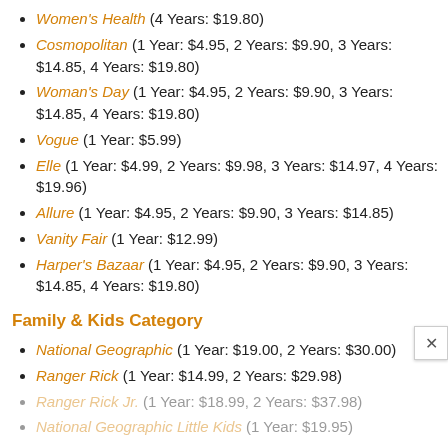Women's Health (4 Years: $19.80)
Cosmopolitan (1 Year: $4.95, 2 Years: $9.90, 3 Years: $14.85, 4 Years: $19.80)
Woman's Day (1 Year: $4.95, 2 Years: $9.90, 3 Years: $14.85, 4 Years: $19.80)
Vogue (1 Year: $5.99)
Elle (1 Year: $4.99, 2 Years: $9.98, 3 Years: $14.97, 4 Years: $19.96)
Allure (1 Year: $4.95, 2 Years: $9.90, 3 Years: $14.85)
Vanity Fair (1 Year: $12.99)
Harper's Bazaar (1 Year: $4.95, 2 Years: $9.90, 3 Years: $14.85, 4 Years: $19.80)
Family & Kids Category
National Geographic (1 Year: $19.00, 2 Years: $30.00)
Ranger Rick (1 Year: $14.99, 2 Years: $29.98)
Ranger Rick Jr. (1 Year: $18.99, 2 Years: $37.98)
National Geographic Little Kids (1 Year: $19.95)